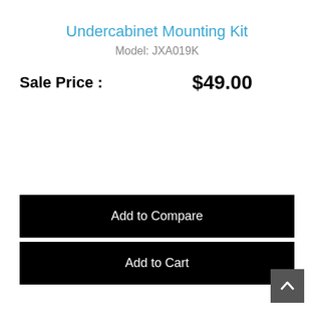Undercabinet Mounting Kit
Model: JXA019K
Sale Price :    $49.00
Add to Compare
Add to Cart